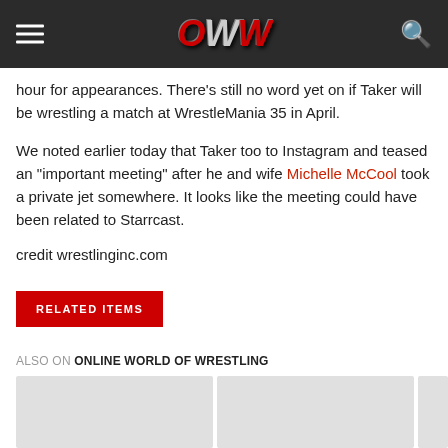OWW (Online World of Wrestling) website header with hamburger menu, logo, and search icon
hour for appearances. There’s still no word yet on if Taker will be wrestling a match at WrestleMania 35 in April.
We noted earlier today that Taker too to Instagram and teased an “important meeting” after he and wife Michelle McCool took a private jet somewhere. It looks like the meeting could have been related to Starrcast.
credit wrestlinginc.com
RELATED ITEMS
ALSO ON ONLINE WORLD OF WRESTLING
[Figure (photo): Three thumbnail images at the bottom of the page, partially visible]